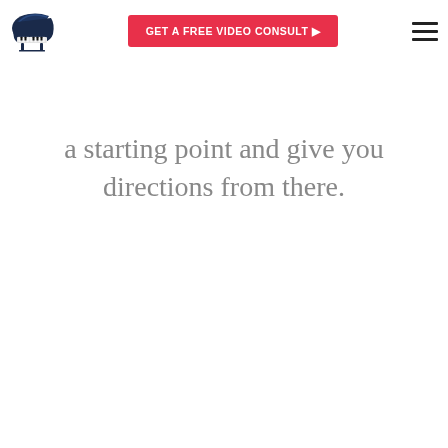[Figure (logo): Grand piano logo icon in dark blue/black, viewed from side with open lid]
[Figure (other): Pink/red rounded rectangle button with white uppercase text: GET A FREE VIDEO CONSULT with arrow symbol]
[Figure (other): Hamburger menu icon — three horizontal dark lines stacked vertically]
a starting point and give you directions from there.